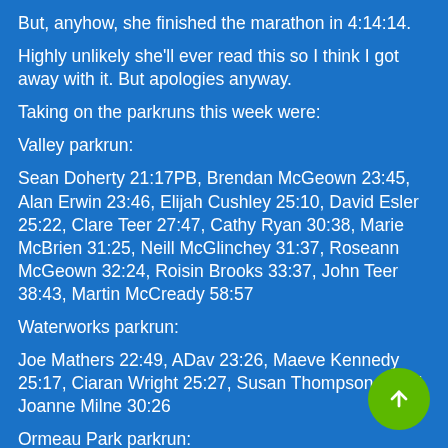But, anyhow, she finished the marathon in 4:14:14.
Highly unlikely she'll ever read this so I think I got away with it. But apologies anyway.
Taking on the parkruns this week were:
Valley parkrun:
Sean Doherty 21:17PB, Brendan McGeown 23:45, Alan Erwin 23:46, Elijah Cushley 25:10, David Esler 25:22, Clare Teer 27:47, Cathy Ryan 30:38, Marie McBrien 31:25, Neill McGlinchey 31:37, Roseann McGeown 32:24, Roisin Brooks 33:37, John Teer 38:43, Martin McCready 58:57
Waterworks parkrun:
Joe Mathers 22:49, ADav 23:26, Maeve Kennedy 25:17, Ciaran Wright 25:27, Susan Thompson 26:27, Joanne Milne 30:26
Ormeau Park parkrun:
Anita Piatek 32:20PB
Antrim parkrun: